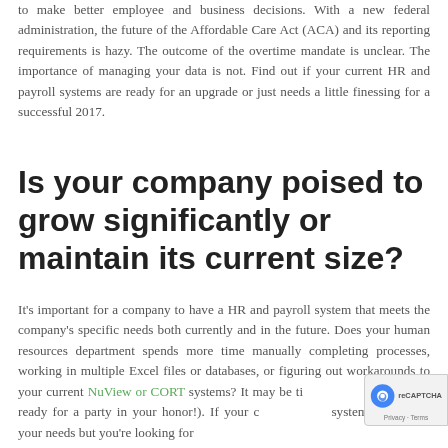to make better employee and business decisions. With a new federal administration, the future of the Affordable Care Act (ACA) and its reporting requirements is hazy. The outcome of the overtime mandate is unclear. The importance of managing your data is not. Find out if your current HR and payroll systems are ready for an upgrade or just needs a little finessing for a successful 2017.
Is your company poised to grow significantly or maintain its current size?
It's important for a company to have a HR and payroll system that meets the company's specific needs both currently and in the future. Does your human resources department spends more time manually completing processes, working in multiple Excel files or databases, or figuring out workarounds to your current NuView or CORT systems? It may be time to change (Get ready for a party in your honor!). If your current system is meeting your needs but you're looking for